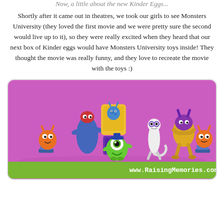Now, a little about the new Kinder Eggs...
Shortly after it came out in theatres, we took our girls to see Monsters University (they loved the first movie and we were pretty sure the second would live up to it), so they were really excited when they heard that our next box of Kinder eggs would have Monsters University toys inside! They thought the movie was really funny, and they love to recreate the movie with the toys :)
[Figure (photo): Photo of Monsters University Kinder Egg figurine toys arranged on a pink background. Characters include Mike Wazowski, Sully card/box, and several other monsters from the movie. A green banner at the bottom reads www.RaisingMemories.com]